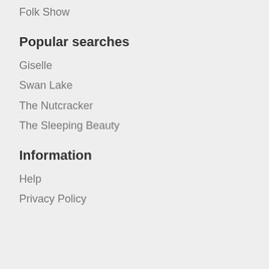Folk Show
Popular searches
Giselle
Swan Lake
The Nutcracker
The Sleeping Beauty
Information
Help
Privacy Policy